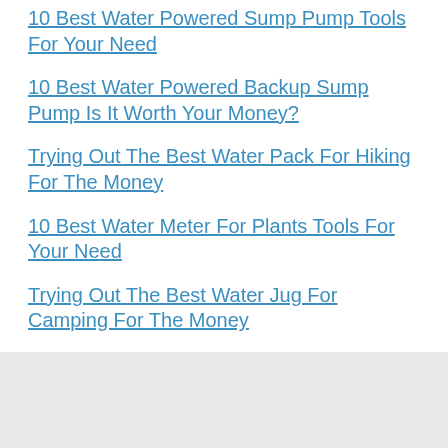10 Best Water Powered Sump Pump Tools For Your Need
10 Best Water Powered Backup Sump Pump Is It Worth Your Money?
Trying Out The Best Water Pack For Hiking For The Money
10 Best Water Meter For Plants Tools For Your Need
Trying Out The Best Water Jug For Camping For The Money
datasciencetoolbox.org is a participant in the